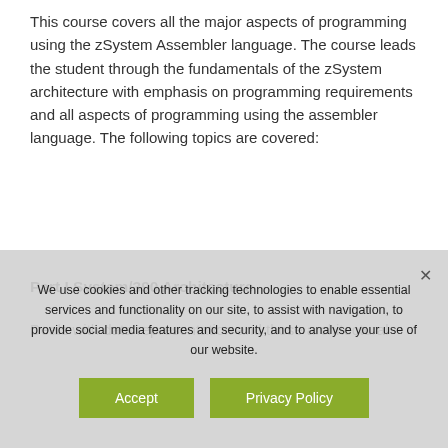This course covers all the major aspects of programming using the zSystem Assembler language. The course leads the student through the fundamentals of the zSystem architecture with emphasis on programming requirements and all aspects of programming using the assembler language. The following topics are covered:
Part I System/390 Architecture
Deals with data representation and those architectural
We use cookies and other tracking technologies to enable essential services and functionality on our site, to assist with navigation, to provide social media features and security, and to analyse your use of our website.